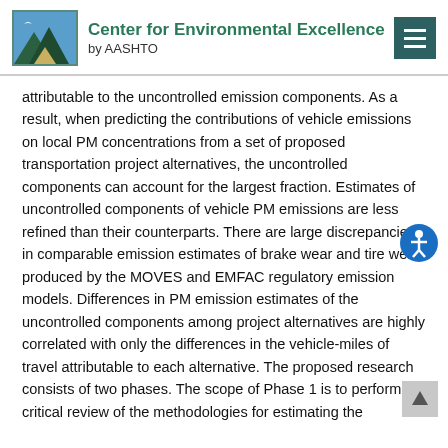Center for Environmental Excellence by AASHTO
attributable to the uncontrolled emission components. As a result, when predicting the contributions of vehicle emissions on local PM concentrations from a set of proposed transportation project alternatives, the uncontrolled components can account for the largest fraction. Estimates of uncontrolled components of vehicle PM emissions are less refined than their counterparts. There are large discrepancies in comparable emission estimates of brake wear and tire wear produced by the MOVES and EMFAC regulatory emission models. Differences in PM emission estimates of the uncontrolled components among project alternatives are highly correlated with only the differences in the vehicle-miles of travel attributable to each alternative. The proposed research consists of two phases. The scope of Phase 1 is to perform a critical review of the methodologies for estimating the